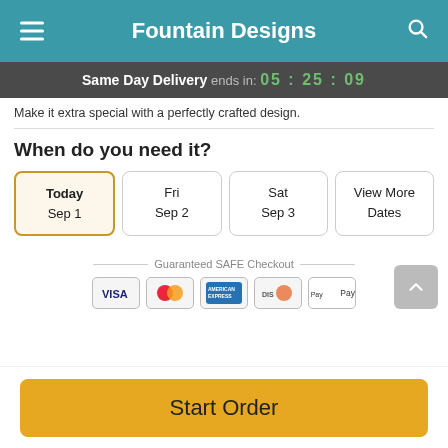Fountain Designs
Same Day Delivery ends in: 05:25:09
Make it extra special with a perfectly crafted design.
When do you need it?
Today Sep 1
Fri Sep 2
Sat Sep 3
View More Dates
Guaranteed SAFE Checkout
[Figure (other): Payment method icons: VISA, Mastercard, American Express, Discover, Apple Pay]
Start Order